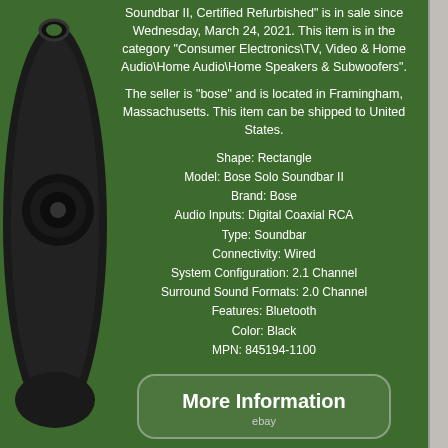[Figure (photo): Black Bose speaker/soundbar partially visible on the left edge of the image against a dark green background]
Soundbar II, Certified Refurbished" is in sale since Wednesday, March 24, 2021. This item is in the category "Consumer Electronics\TV, Video & Home Audio\Home Audio\Home Speakers & Subwoofers".
The seller is "bose" and is located in Framingham, Massachusetts. This item can be shipped to United States.
Shape: Rectangle
Model: Bose Solo Soundbar II
Brand: Bose
Audio Inputs: Digital Coaxial RCA
Type: Soundbar
Connectivity: Wired
System Configuration: 2.1 Channel
Surround Sound Formats: 2.0 Channel
Features: Bluetooth
Color: Black
MPN: 845194-1100
More Information
ebay